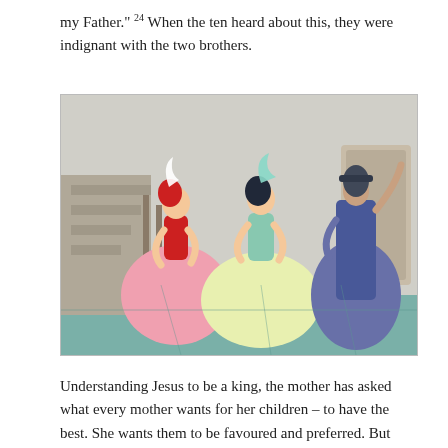my Father." 24 When the ten heard about this, they were indignant with the two brothers.
[Figure (illustration): Animated illustration (Cinderella style) showing three female figures in ballgowns — one in red/pink dress with red hair, one in mint/yellow dress with dark hair, and one in blue/purple dark dress — posing or dancing in an interior staircase setting.]
Understanding Jesus to be a king, the mother has asked what every mother wants for her children – to have the best. She wants them to be favoured and preferred. But what she asks